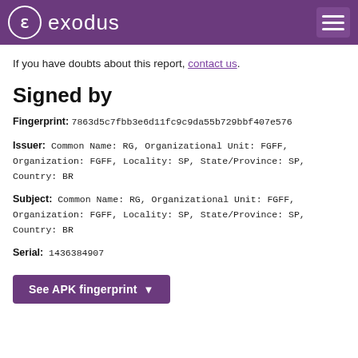exodus
If you have doubts about this report, contact us.
Signed by
Fingerprint: 7863d5c7fbb3e6d11fc9c9da55b729bbf407e576
Issuer: Common Name: RG, Organizational Unit: FGFF, Organization: FGFF, Locality: SP, State/Province: SP, Country: BR
Subject: Common Name: RG, Organizational Unit: FGFF, Organization: FGFF, Locality: SP, State/Province: SP, Country: BR
Serial: 1436384907
See APK fingerprint